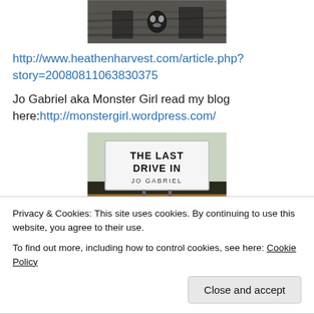[Figure (illustration): Black and white illustration/woodcut style image showing a dark scene with a skull and figures, partially visible at top of page]
http://www.heathenharvest.com/article.php?story=20080811063830375
Jo Gabriel aka Monster Girl read my blog here: http://monstergirl.wordpress.com/
[Figure (photo): Photo of a drive-in movie theater marquee sign reading 'The Last Drive In' and 'Jo Gabriel' against a brown/beige landscape]
Privacy & Cookies: This site uses cookies. By continuing to use this website, you agree to their use.
To find out more, including how to control cookies, see here: Cookie Policy
Close and accept